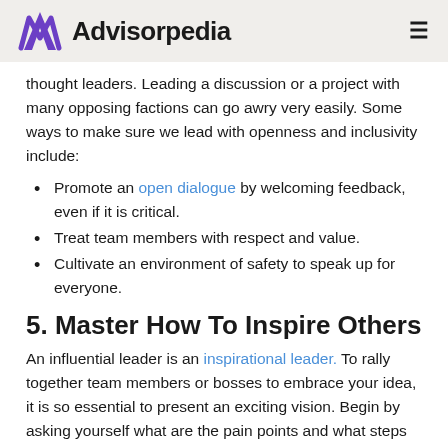Advisorpedia
thought leaders. Leading a discussion or a project with many opposing factions can go awry very easily. Some ways to make sure we lead with openness and inclusivity include:
Promote an open dialogue by welcoming feedback, even if it is critical.
Treat team members with respect and value.
Cultivate an environment of safety to speak up for everyone.
5. Master How To Inspire Others
An influential leader is an inspirational leader. To rally together team members or bosses to embrace your idea, it is so essential to present an exciting vision. Begin by asking yourself what are the pain points and what steps